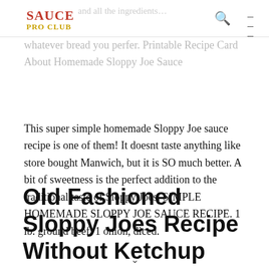SAUCE PRO CLUB
whatever bread you perfer. Printable Recipe Card About Homemade Sloppy Joe Sauce
This super simple homemade Sloppy Joe sauce recipe is one of them! It doesnt taste anything like store bought Manwich, but it is SO much better. A bit of sweetness is the perfect addition to the traditional taste of Sloppy Joes. SIMPLE HOMEMADE SLOPPY JOE SAUCE RECIPE. 1 lb. ground beef. 1 onion, diced.
Old Fashioned Sloppy Joes Recipe Without Ketchup